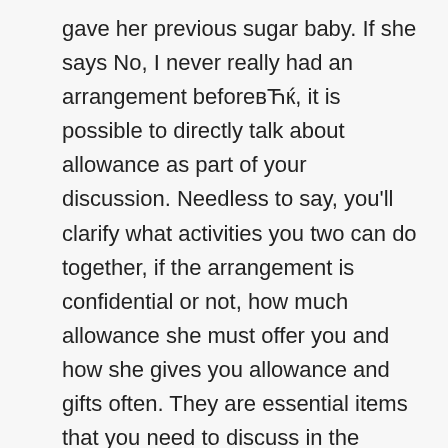gave her previous sugar baby. If she says No, I never really had an arrangement beforeвЋќ, it is possible to directly talk about allowance as part of your discussion. Needless to say, you'll clarify what activities you two can do together, if the arrangement is confidential or not, how much allowance she must offer you and how she gives you allowance and gifts often. They are essential items that you need to discuss in the beginning of your respective arrangement with a sugar momma. This part is conducted Once, you can relax and revel in your mutually beneficial relationship as you know you'll find nothing to be worried about – all